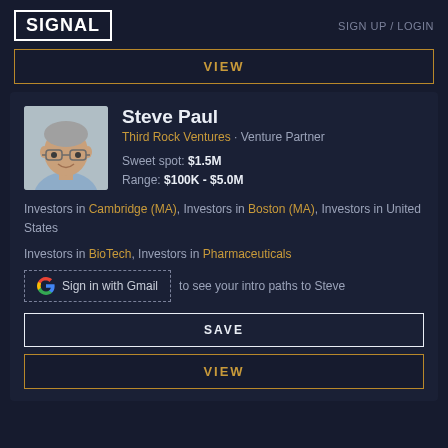SIGNAL | SIGN UP / LOGIN
VIEW
Steve Paul
Third Rock Ventures · Venture Partner
Sweet spot: $1.5M
Range: $100K - $5.0M
Investors in Cambridge (MA), Investors in Boston (MA), Investors in United States
Investors in BioTech, Investors in Pharmaceuticals
Sign in with Gmail to see your intro paths to Steve
SAVE
VIEW